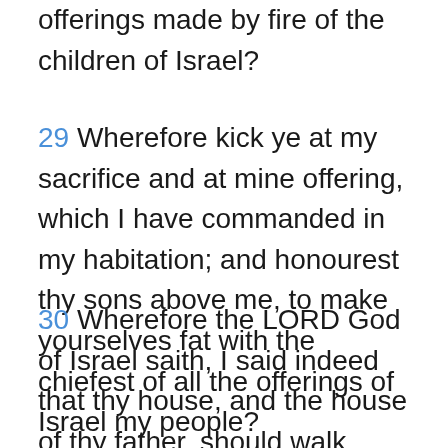offerings made by fire of the children of Israel?
29 Wherefore kick ye at my sacrifice and at mine offering, which I have commanded in my habitation; and honourest thy sons above me, to make yourselves fat with the chiefest of all the offerings of Israel my people?
30 Wherefore the LORD God of Israel saith, I said indeed that thy house, and the house of thy father, should walk before me for ever: but now the LORD saith, Be it far from me; for them that honour me I will honour, and they that